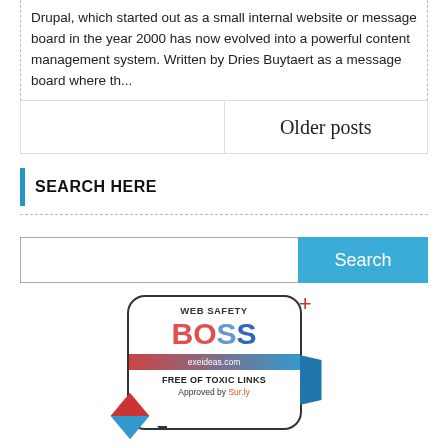Drupal, which started out as a small internal website or message board in the year 2000 has now evolved into a powerful content management system. Written by Dries Buytaert as a message board where th...
Older posts
SEARCH HERE
Search
[Figure (logo): Web Safety BOSS badge from exeideas.com - Free of Toxic Links, Approved by Sur.ly, 2023]
2023